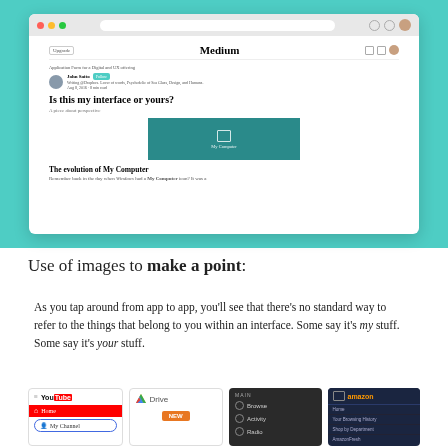[Figure (screenshot): Browser screenshot of a Medium article titled 'Is this my interface or yours?' showing the Medium website with a teal/turquoise background, article header with author John Saito, hero image with 'My Computer' icon, and article section 'The evolution of My Computer']
Use of images to make a point:
As you tap around from app to app, you'll see that there's no standard way to refer to the things that belong to you within an interface. Some say it's my stuff. Some say it's your stuff.
[Figure (screenshot): Four app UI screenshots showing navigation patterns: YouTube showing 'Home' and 'My Channel', Google Drive showing Drive with NEW button, a dark music app showing MAIN menu with Browse/Activity/Radio, and Amazon app showing menu with Home/Your Browsing History/Shop by Department/AmazonFresh]